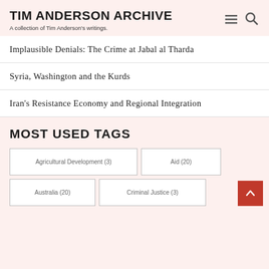TIM ANDERSON ARCHIVE
A collection of Tim Anderson's writings.
Implausible Denials: The Crime at Jabal al Tharda
Syria, Washington and the Kurds
Iran's Resistance Economy and Regional Integration
MOST USED TAGS
Agricultural Development (3)
Aid (20)
Australia (20)
Criminal Justice (3)